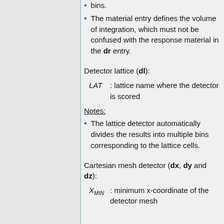bins.
The material entry defines the volume of integration, which must not be confused with the response material in the dr entry.
Detector lattice (dl):
LAT : lattice name where the detector is scored
Notes:
The lattice detector automatically divides the results into multiple bins corresponding to the lattice cells.
Cartesian mesh detector (dx, dy and dz):
X_MIN : minimum x-coordinate of the detector mesh